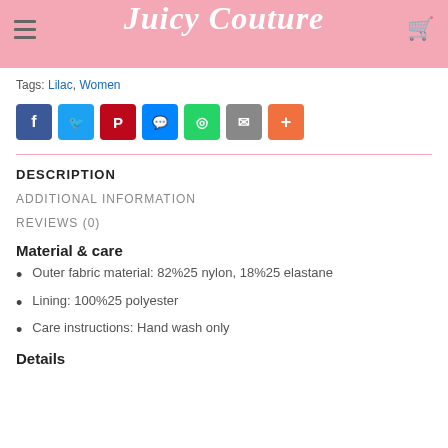Juicy Couture
Tags: Lilac, Women
[Figure (infographic): Social share buttons: Facebook, Twitter, Pinterest, Messenger, WhatsApp, Email, More]
DESCRIPTION
ADDITIONAL INFORMATION
REVIEWS (0)
Material & care
Outer fabric material: 82%25 nylon, 18%25 elastane
Lining: 100%25 polyester
Care instructions: Hand wash only
Details